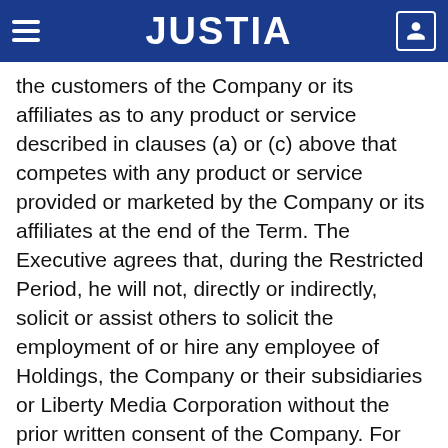JUSTIA
the customers of the Company or its affiliates as to any product or service described in clauses (a) or (c) above that competes with any product or service provided or marketed by the Company or its affiliates at the end of the Term. The Executive agrees that, during the Restricted Period, he will not, directly or indirectly, solicit or assist others to solicit the employment of or hire any employee of Holdings, the Company or their subsidiaries or Liberty Media Corporation without the prior written consent of the Company. For purposes of this Agreement, the “Restricted Period” shall mean three (3) years following the end of the Term. For purposes of this Agreement, the term “radio” shall be defined broadly and shall include any and all forms and mediums of audio distribution now existing or hereafter developed, including terrestrial radio, streaming audio services, podcasting and on-demand audio services.